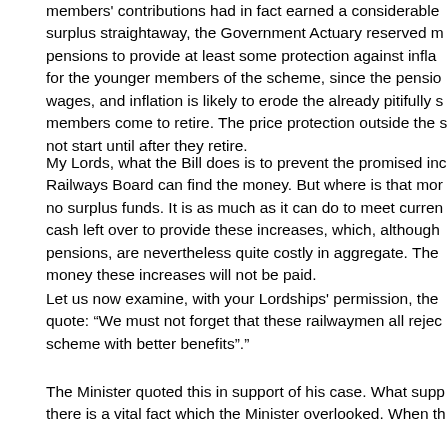members' contributions had in fact earned a considerable surplus straightaway, the Government Actuary reserved m pensions to provide at least some protection against infla for the younger members of the scheme, since the pensio wages, and inflation is likely to erode the already pitifully s members come to retire. The price protection outside the s not start until after they retire.
My Lords, what the Bill does is to prevent the promised inc Railways Board can find the money. But where is that mor no surplus funds. It is as much as it can do to meet curren cash left over to provide these increases, which, although pensions, are nevertheless quite costly in aggregate. The money these increases will not be paid.
Let us now examine, with your Lordships' permission, the quote: “We must not forget that these railwaymen all rejec scheme with better benefits”."
The Minister quoted this in support of his case. What supp there is a vital fact which the Minister overlooked. When th